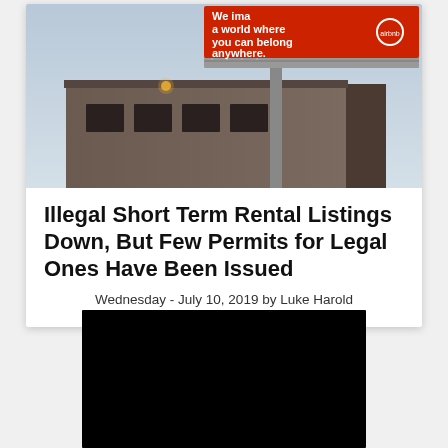[Figure (photo): Airbnb billboard advertisement on top of a building at dusk. Red billboard reads 'We imagine a world where you can belong anywhere.' with the Airbnb logo.]
Illegal Short Term Rental Listings Down, But Few Permits for Legal Ones Have Been Issued
Wednesday - July 10, 2019 by Luke Harold
[Figure (photo): Black rectangle representing a redacted or unavailable image.]